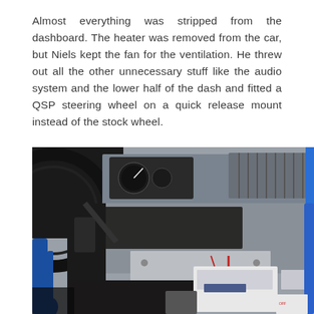Almost everything was stripped from the dashboard. The heater was removed from the car, but Niels kept the fan for the ventilation. He threw out all the other unnecessary stuff like the audio system and the lower half of the dash and fitted a QSP steering wheel on a quick release mount instead of the stock wheel.
[Figure (photo): Interior photo of a stripped race car dashboard showing steering column area, instrument cluster, and bare metal dash with blue roll cage tubing visible on the left and right sides.]